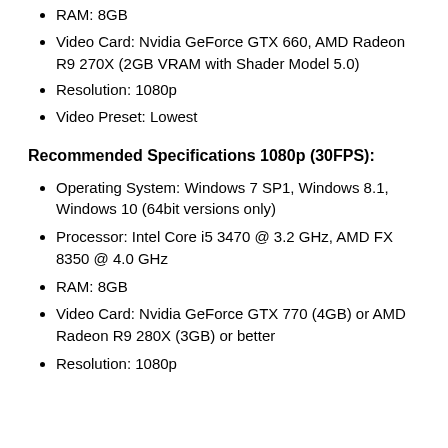RAM: 8GB
Video Card: Nvidia GeForce GTX 660, AMD Radeon R9 270X (2GB VRAM with Shader Model 5.0)
Resolution: 1080p
Video Preset: Lowest
Recommended Specifications 1080p (30FPS):
Operating System: Windows 7 SP1, Windows 8.1, Windows 10 (64bit versions only)
Processor: Intel Core i5 3470 @ 3.2 GHz, AMD FX 8350 @ 4.0 GHz
RAM: 8GB
Video Card: Nvidia GeForce GTX 770 (4GB) or AMD Radeon R9 280X (3GB) or better
Resolution: 1080p